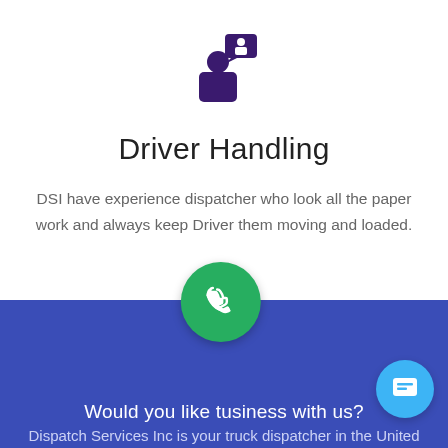[Figure (illustration): Purple icon of a person with a speech/notification bubble above them, representing a dispatcher or person handling communication.]
Driver Handling
DSI have experience dispatcher who look all the paper work and always keep Driver them moving and loaded.
Would you like t...usiness with us?
Dispatch Services Inc is your truck dispatcher in the United